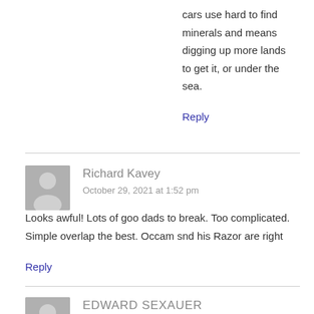cars use hard to find minerals and means digging up more lands to get it, or under the sea.
Reply
Richard Kavey
October 29, 2021 at 1:52 pm
Looks awful! Lots of goo dads to break. Too complicated. Simple overlap the best. Occam snd his Razor are right
Reply
EDWARD SEXAUER